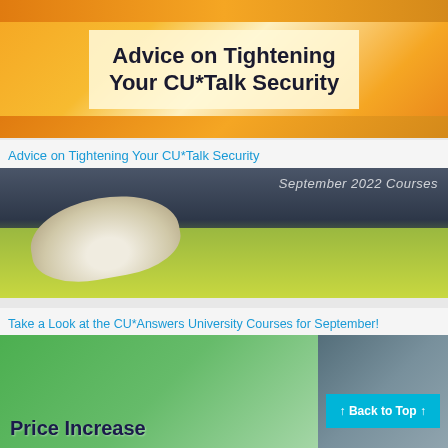[Figure (photo): Banner image with orange gradient background and a text block reading 'Advice on Tightening Your CU*Talk Security']
Advice on Tightening Your CU*Talk Security
[Figure (photo): Photo of person tying shoelaces on grass with 'September 2022 Courses' text overlay]
Take a Look at the CU*Answers University Courses for September!
[Figure (photo): Green foliage background with 'Price Increase' text visible and a teal 'Back to Top' button overlay]